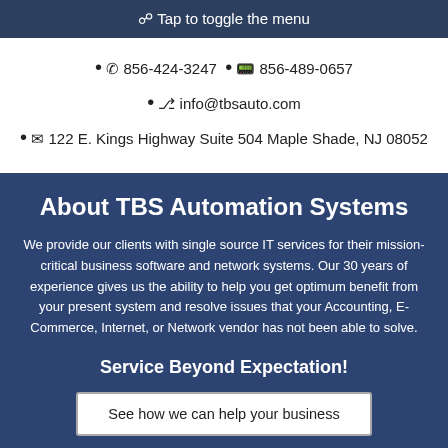☰ Tap to toggle the menu
• ☎ 856-424-3247 • 📟 856-489-0657
• 🖥 info@tbsauto.com
• ✉ 122 E. Kings Highway Suite 504 Maple Shade, NJ 08052
About TBS Automation Systems
We provide our clients with single source IT services for their mission-critical business software and network systems. Our 30 years of experience gives us the ability to help you get optimum benefit from your present system and resolve issues that your Accounting, E-Commerce, Internet, or Network vendor has not been able to solve.
Service Beyond Expectation!
See how we can help your business